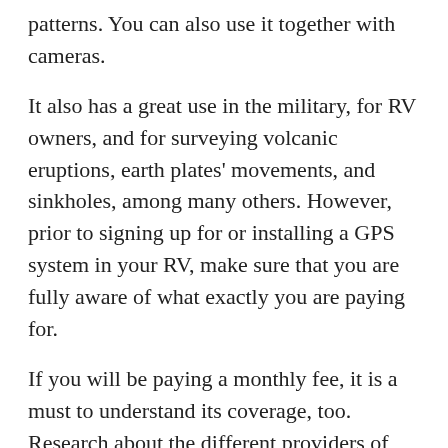patterns. You can also use it together with cameras.
It also has a great use in the military, for RV owners, and for surveying volcanic eruptions, earth plates' movements, and sinkholes, among many others. However, prior to signing up for or installing a GPS system in your RV, make sure that you are fully aware of what exactly you are paying for.
If you will be paying a monthly fee, it is a must to understand its coverage, too. Research about the different providers of GPS and find out how much it requires you to enjoy their services. Read everything related to the system as well as its pros and cons.
Also, make it a point to spend time comparing the rates of different brands of GPS systems. Your goal should be to pick a product and a package, which perfectly suits